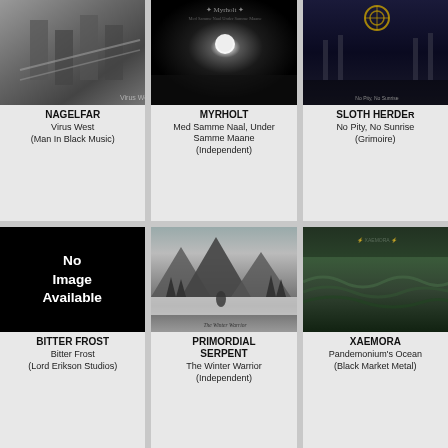[Figure (photo): Album cover for Nagelfar - Virus West, black and white industrial scene]
NAGELFAR
Virus West
(Man In Black Music)
[Figure (photo): Album cover for Myrholt - Med Samme Naal, Under Samme Maane, dark night sky with moon]
MYRHOLT
Med Samme Naal, Under Samme Maane
(Independent)
[Figure (photo): Album cover for Sloth Herder - No Pity, No Sunrise, dark blue fantasy scene]
SLOTH HERDER
No Pity, No Sunrise
(Grimoire)
[Figure (photo): No Image Available placeholder, black background with white text]
BITTER FROST
Bitter Frost
(Lord Erikson Studios)
[Figure (photo): Album cover for Primordial Serpent - The Winter Warrior, snowy mountain forest scene]
PRIMORDIAL SERPENT
The Winter Warrior
(Independent)
[Figure (photo): Album cover for Xaemora - Pandemonium's Ocean, dark green ocean/atmospheric scene]
XAEMORA
Pandemonium's Ocean
(Black Market Metal)